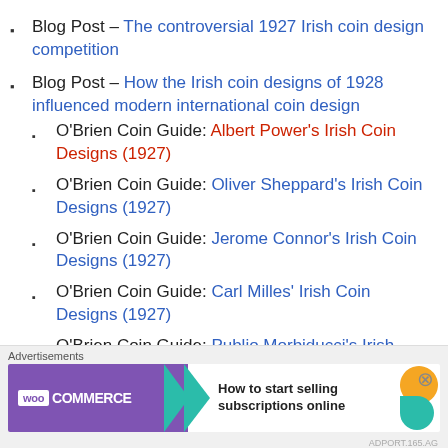Blog Post – The controversial 1927 Irish coin design competition
Blog Post – How the Irish coin designs of 1928 influenced modern international coin design
O'Brien Coin Guide: Albert Power's Irish Coin Designs (1927)
O'Brien Coin Guide: Oliver Sheppard's Irish Coin Designs (1927)
O'Brien Coin Guide: Jerome Connor's Irish Coin Designs (1927)
O'Brien Coin Guide: Carl Milles' Irish Coin Designs (1927)
O'Brien Coin Guide: Publio Morbiducci's Irish Coin
[Figure (other): WooCommerce advertisement banner: 'How to start selling subscriptions online']